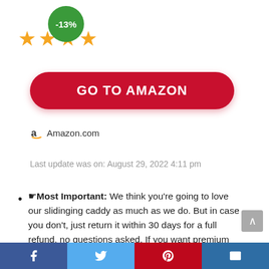[Figure (infographic): Green circular badge with -13% discount text overlapping with four gold stars rating display]
[Figure (infographic): Red rounded-rectangle button labeled GO TO AMAZON in white bold text]
Amazon.com
Last update was on: August 29, 2022 4:11 pm
☛Most Important: We think you're going to love our slidinging caddy as much as we do. But in case you don't, just return it within 30 days for a full refund, no questions asked. If you want premium quality kitchen caddy just like what satisfied customers are saying on their review, make sure
[Figure (infographic): Social share footer bar with Facebook, Twitter, Pinterest, and email icons]